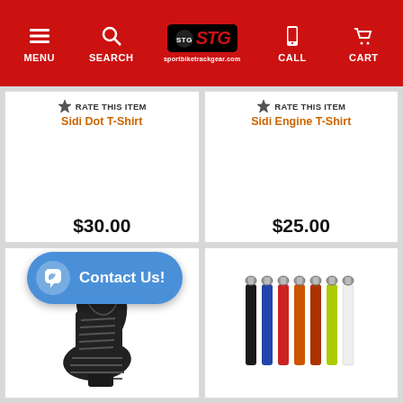MENU | SEARCH | STG | CALL | CART
RATE THIS ITEM
Sidi Dot T-Shirt
$30.00
RATE THIS ITEM
Sidi Engine T-Shirt
$25.00
[Figure (photo): Boot sole product image]
[Figure (photo): Colored straps/buckles product image in multiple colors: black, blue, red, orange, yellow-green, white]